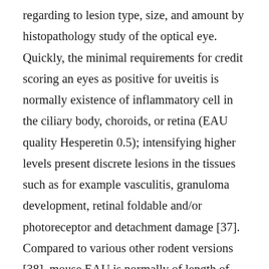regarding to lesion type, size, and amount by histopathology study of the optical eye. Quickly, the minimal requirements for credit scoring an eyes as positive for uveitis is normally existence of inflammatory cell in the ciliary body, choroids, or retina (EAU quality Hesperetin 0.5); intensifying higher levels present discrete lesions in the tissues such as for example vasculitis, granuloma development, retinal foldable and/or photoreceptor and detachment damage [37]. Compared to various other rodent versions [38], mouse EAU is normally of length of time and presents with recurrences much longer, facilitating therapeutic managing of the condition [37] hence. The hereditary predisposition for the